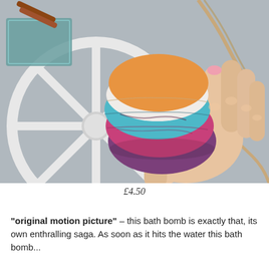[Figure (photo): A hand holding a multi-colored bath bomb with layers of orange, white, teal/blue, pink, and purple, set against a background with a white decorative wooden wheel and other bath accessories on a grey surface.]
£4.50
"original motion picture" – this bath bomb is exactly that, its own enthralling saga. As soon as it hits the water this bath bomb...